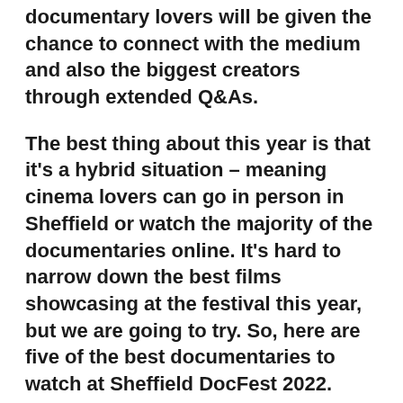documentary lovers will be given the chance to connect with the medium and also the biggest creators through extended Q&As.
The best thing about this year is that it's a hybrid situation – meaning cinema lovers can go in person in Sheffield or watch the majority of the documentaries online. It's hard to narrow down the best films showcasing at the festival this year, but we are going to try. So, here are five of the best documentaries to watch at Sheffield DocFest 2022.
The Fire Within: Requiem for Katie and